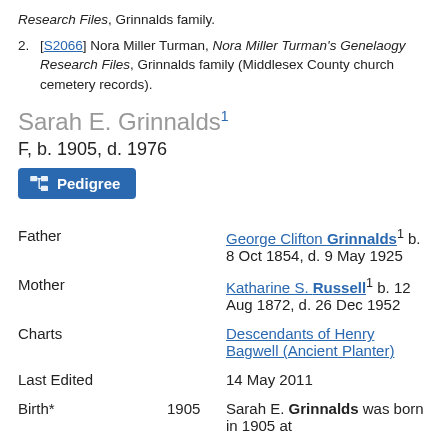Research Files, Grinnalds family.
[S2066] Nora Miller Turman, Nora Miller Turman's Genelaogy Research Files, Grinnalds family (Middlesex County church cemetery records).
Sarah E. Grinnalds¹
F, b. 1905, d. 1976
Pedigree (button)
| Field | Date | Value |
| --- | --- | --- |
| Father |  | George Clifton Grinnalds¹ b. 8 Oct 1854, d. 9 May 1925 |
| Mother |  | Katharine S. Russell¹ b. 12 Aug 1872, d. 26 Dec 1952 |
| Charts |  | Descendants of Henry Bagwell (Ancient Planter) |
| Last Edited |  | 14 May 2011 |
| Birth* | 1905 | Sarah E. Grinnalds was born in 1905 at |